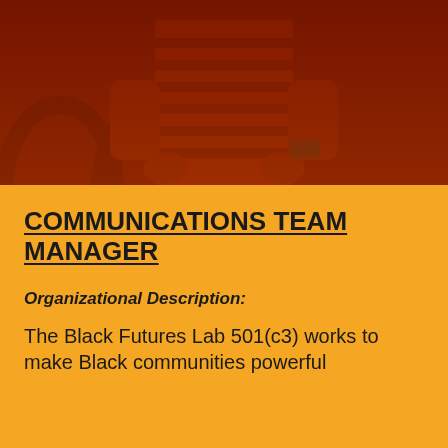[Figure (photo): Person wearing a striped shirt with a watch, hands visible, standing in front of arched stonework. Image has a dark red/orange duotone overlay.]
COMMUNICATIONS TEAM MANAGER
Organizational Description:
The Black Futures Lab 501(c3) works to make Black communities powerful